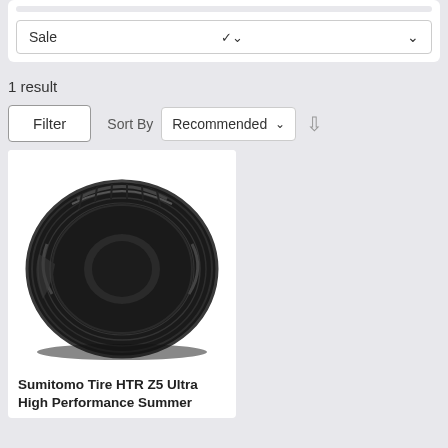[Figure (screenshot): Sale dropdown filter selector with chevron]
1 result
[Figure (screenshot): Filter button and Sort By Recommended dropdown with down arrow]
[Figure (photo): Black Sumitomo Tire HTR Z5 Ultra High Performance Summer tire product image]
Sumitomo Tire HTR Z5 Ultra High Performance Summer